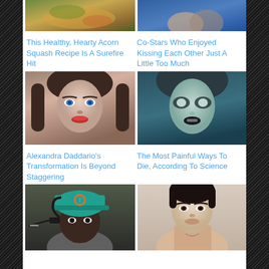[Figure (photo): Food photo - acorn squash dish (partially visible, top cropped)]
[Figure (photo): Couple kissing photo (partially visible, top cropped)]
This Healthy, Hearty Acorn Squash Recipe Is A Surefire Hit
Co-Stars Who Enjoyed Kissing Each Other Just A Little Too Much
[Figure (photo): Alexandra Daddario portrait with blue eyes and red lips]
[Figure (photo): Zombie-like woman with pale skin and dark lips in blue tones]
Alexandra Daddario's Transformation Is Beyond Staggering
The Most Painful Ways To Die, According To Science
[Figure (photo): NFL coach wearing Miami Dolphins teal cap with Bose headset]
[Figure (photo): Shirtless attractive man with dark hair]